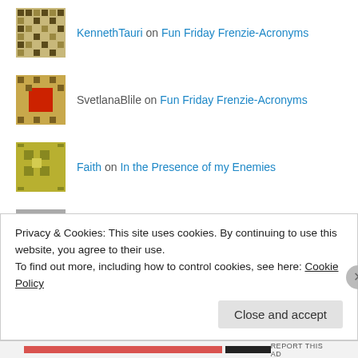KennethTauri on Fun Friday Frenzie-Acronyms
SvetlanaBlile on Fun Friday Frenzie-Acronyms
Faith on In the Presence of my Enemies
Charlotte on Wearing His Ring
[Figure (illustration): Broken image placeholder icon]
Privacy & Cookies: This site uses cookies. By continuing to use this website, you agree to their use.
To find out more, including how to control cookies, see here: Cookie Policy
Close and accept